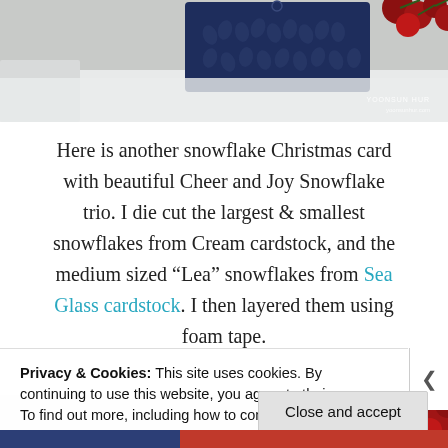[Figure (photo): Top portion of a Christmas card scene with a dark navy blue decorative tag/stamp with leaf cutout pattern on a snowy white background, red berries visible at top right, watermark 'YOONSUN HUR' and website URL visible bottom right]
Here is another snowflake Christmas card with beautiful Cheer and Joy Snowflake trio. I die cut the largest & smallest snowflakes from Cream cardstock, and the medium sized “Lea” snowflakes from Sea Glass cardstock. I then layered them using foam tape.
[Figure (photo): Bottom portion of a Christmas crafting scene with snowy/white textured background and red berries visible at right edge]
Privacy & Cookies: This site uses cookies. By continuing to use this website, you agree to their use.
To find out more, including how to control cookies, see here: Cookie Policy
Close and accept